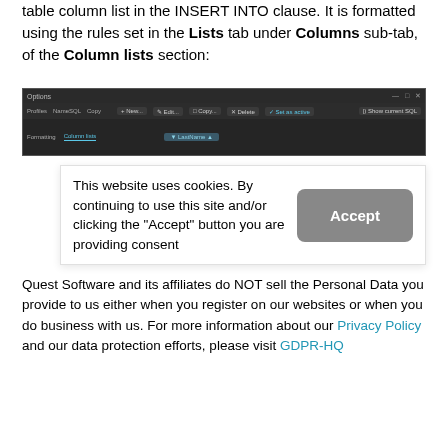table column list in the INSERT INTO clause. It is formatted using the rules set in the Lists tab under Columns sub-tab, of the Column lists section:
[Figure (screenshot): Dark-themed database UI screenshot showing the Options dialog with Headers, NameSQL, Copy tabs and toolbar buttons including New, Edit, Copy, Delete, Set as active, Show current SQL. The Formatting and Column lists tabs are visible at the bottom.]
This website uses cookies. By continuing to use this site and/or clicking the "Accept" button you are providing consent
Accept
Quest Software and its affiliates do NOT sell the Personal Data you provide to us either when you register on our websites or when you do business with us. For more information about our Privacy Policy and our data protection efforts, please visit GDPR-HQ